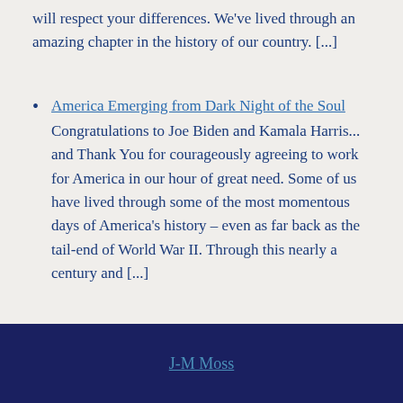will respect your differences. We've lived through an amazing chapter in the history of our country. [...]
America Emerging from Dark Night of the Soul
Congratulations to Joe Biden and Kamala Harris... and Thank You for courageously agreeing to work for America in our hour of great need. Some of us have lived through some of the most momentous days of America's history – even as far back as the tail-end of World War II. Through this nearly a century and [...]
J-M Moss